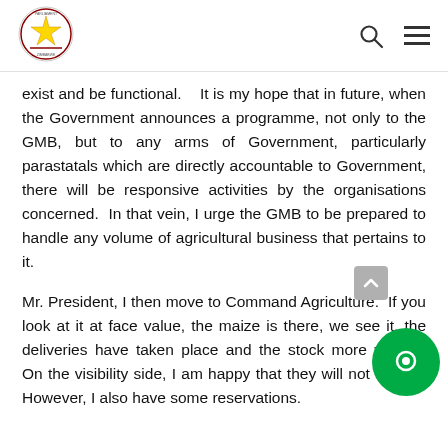Parliament of Zimbabwe - header with logo, search and menu icons
exist and be functional.  It is my hope that in future, when the Government announces a programme, not only to the GMB, but to any arms of Government, particularly parastatals which are directly accountable to Government, there will be responsive activities by the organisations concerned.  In that vein, I urge the GMB to be prepared to handle any volume of agricultural business that pertains to it.
Mr. President, I then move to Command Agriculture.  If you look at it at face value, the maize is there, we see it, the deliveries have taken place and the stock more visible.  On the visibility side, I am happy that they will not starve.  However, I also have some reservations.